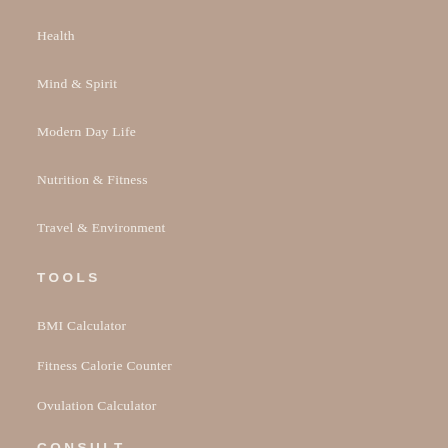Health
Mind & Spirit
Modern Day Life
Nutrition & Fitness
Travel & Environment
TOOLS
BMI Calculator
Fitness Calorie Counter
Ovulation Calculator
CONSULT
Holistic Wellness Makeover
Health Road-Map
Contact us at holisticly1@gmail.com
ABOUT US